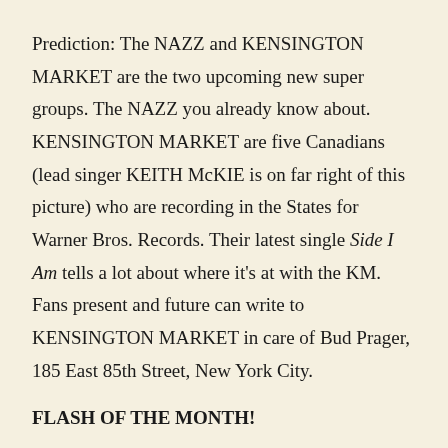Prediction: The NAZZ and KENSINGTON MARKET are the two upcoming new super groups. The NAZZ you already know about. KENSINGTON MARKET are five Canadians (lead singer KEITH McKIE is on far right of this picture) who are recording in the States for Warner Bros. Records. Their latest single Side I Am tells a lot about where it's at with the KM. Fans present and future can write to KENSINGTON MARKET in care of Bud Prager, 185 East 85th Street, New York City.
FLASH OF THE MONTH!
It's very likely that you'll soon be seeing SAJID's very own TV show! Four Star is producing it, and it will be